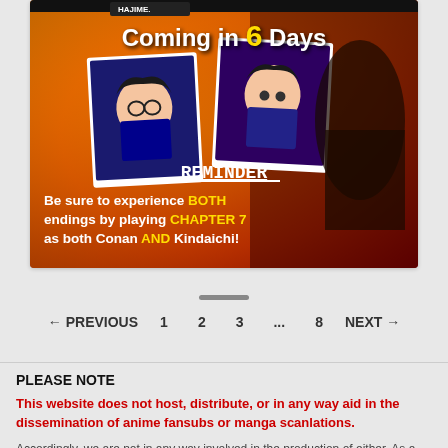[Figure (illustration): Promotional banner for a Detective Conan and Kindaichi crossover game/chapter. Orange/red gradient background with anime character artwork. Text reads 'Coming in 6 Days', 'REMINDER', 'Be sure to experience BOTH endings by playing CHAPTER 7 as both Conan AND Kindaichi!']
← PREVIOUS   1   2   3   ...   8   NEXT →
PLEASE NOTE
This website does not host, distribute, or in any way aid in the dissemination of anime fansubs or manga scanlations.
Accordingly, we are not in any way involved in the production of either. As a result, we unfortunately cannot offer any help or advice on where to find such materials. We likewise ask that you please do not discuss them on the website, in the forums, in comments, or anywhere else.